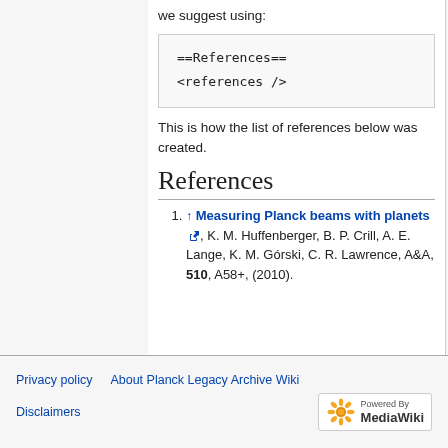we suggest using:
==References==
<references />
This is how the list of references below was created.
References
↑ Measuring Planck beams with planets, K. M. Huffenberger, B. P. Crill, A. E. Lange, K. M. Górski, C. R. Lawrence, A&A, 510, A58+, (2010).
Privacy policy   About Planck Legacy Archive Wiki   Disclaimers   Powered by MediaWiki